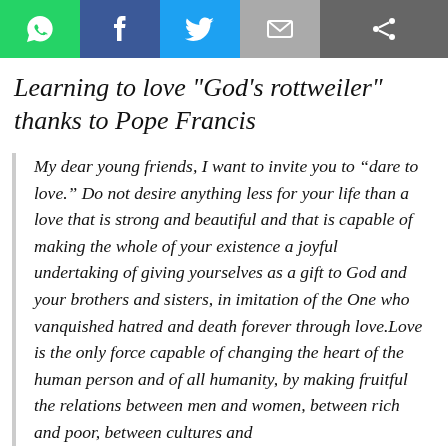[Figure (other): Social media sharing bar with WhatsApp (green), Facebook (blue), Twitter (light blue), Email (grey), and Share (dark grey) buttons]
Learning to love "God's rottweiler" thanks to Pope Francis
My dear young friends, I want to invite you to “dare to love.” Do not desire anything less for your life than a love that is strong and beautiful and that is capable of making the whole of your existence a joyful undertaking of giving yourselves as a gift to God and your brothers and sisters, in imitation of the One who vanquished hatred and death forever through love.Love is the only force capable of changing the heart of the human person and of all humanity, by making fruitful the relations between men and women, between rich and poor, between cultures and